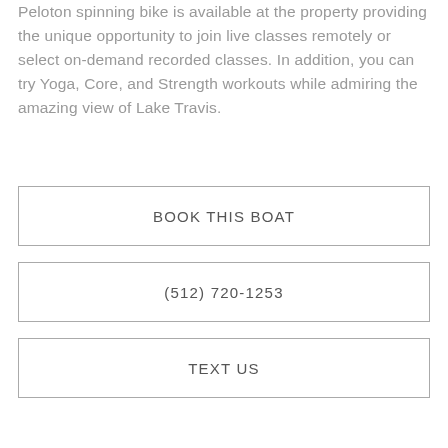Peloton spinning bike is available at the property providing the unique opportunity to join live classes remotely or select on-demand recorded classes. In addition, you can try Yoga, Core, and Strength workouts while admiring the amazing view of Lake Travis.
BOOK THIS BOAT
(512) 720-1253
TEXT US